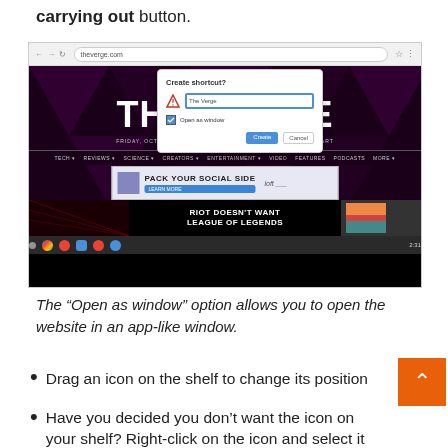carrying out button.
[Figure (screenshot): Screenshot of Chrome browser showing The Verge website with a 'Create shortcut?' dialog open. The dialog has a text field with 'The Verge', a checkbox for 'Open as window', and Create/Cancel buttons. The website shows the masthead 'THE VERGE', navigation links, an advertisement 'PACK YOUR SOCIAL SIDE' for loft, and a bottom story about 'RIOT DOESN'T WANT LEAGUE OF LEGENDS'. The Chrome taskbar is visible at the bottom with app icons.]
The “Open as window” option allows you to open the website in an app-like window.
Drag an icon on the shelf to change its position
Have you decided you don’t want the icon on your shelf? Right-click on the icon and select it